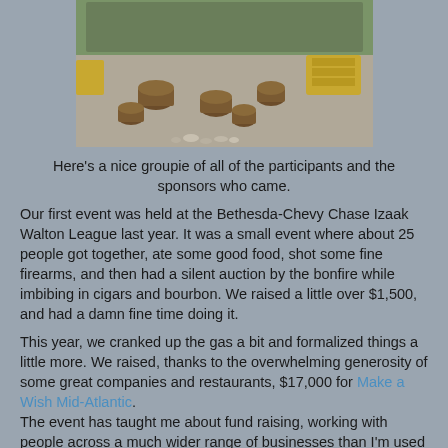[Figure (photo): Outdoor gathering photo showing tree stumps arranged in a circle on gravel, hay bales, and a group of people in the background on grass.]
Here's a nice groupie of all of the participants and the sponsors who came.
Our first event was held at the Bethesda-Chevy Chase Izaak Walton League last year. It was a small event where about 25 people got together, ate some good food, shot some fine firearms, and then had a silent auction by the bonfire while imbibing in cigars and bourbon. We raised a little over $1,500, and had a damn fine time doing it.
This year, we cranked up the gas a bit and formalized things a little more. We raised, thanks to the overwhelming generosity of some great companies and restaurants, $17,000 for Make a Wish Mid-Atlantic. The event has taught me about fund raising, working with people across a much wider range of businesses than I'm used to dealing with, and the generosity of some restaurant people. I have to say, it's been eye-opening, impressive, and